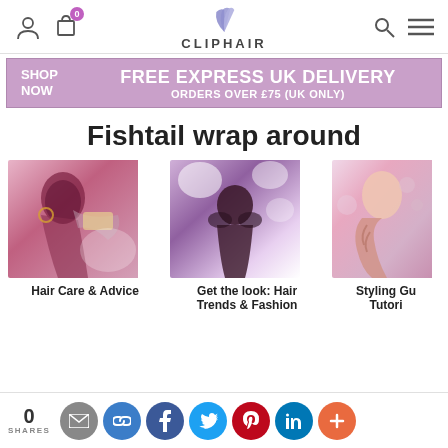CLIPHAIR
[Figure (infographic): Purple banner: SHOP NOW | FREE EXPRESS UK DELIVERY | ORDERS OVER £75 (UK ONLY)]
Fishtail wrap around
[Figure (photo): Woman having hair extensions applied - Hair Care & Advice category image]
Hair Care & Advice
[Figure (photo): Woman with curly hair at event with bright lights - Get the look: Hair Trends & Fashion category image]
Get the look: Hair Trends & Fashion
[Figure (photo): Woman with long braid - Styling Guides & Tutorials category image]
Styling Guides & Tutorials
0 SHARES